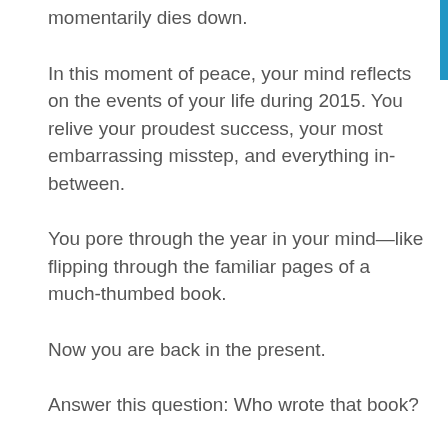momentarily dies down.
In this moment of peace, your mind reflects on the events of your life during 2015. You relive your proudest success, your most embarrassing misstep, and everything in-between.
You pore through the year in your mind—like flipping through the familiar pages of a much-thumbed book.
Now you are back in the present.
Answer this question: Who wrote that book?
1. You Are The Protagonist